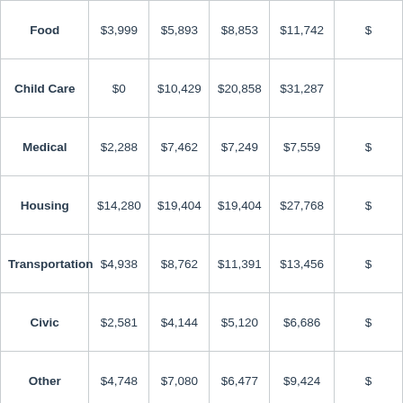| Category | 1 Adult | 1 Adult 1 Child | 1 Adult 2 Children | 2 Adults | 2 Adults 1 Child |
| --- | --- | --- | --- | --- | --- |
| Food | $3,999 | $5,893 | $8,853 | $11,742 | $... |
| Child Care | $0 | $10,429 | $20,858 | $31,287 |  |
| Medical | $2,288 | $7,462 | $7,249 | $7,559 | $... |
| Housing | $14,280 | $19,404 | $19,404 | $27,768 | $... |
| Transportation | $4,938 | $8,762 | $11,391 | $13,456 | $... |
| Civic | $2,581 | $4,144 | $5,120 | $6,686 | $... |
| Other | $4,748 | $7,080 | $6,477 | $9,424 | $... |
| Required annual income after taxes | $32,957 | $63,298 | $79,475 | $108,044 | $... |
| Annual taxes | $8,213 | $19,175 | $24,076 | $32,730 | $... |
| Required |  |  |  |  |  |